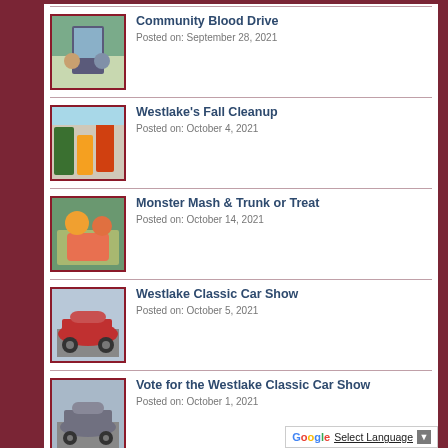Community Blood Drive
Posted on: September 28, 2021
Westlake's Fall Cleanup
Posted on: October 4, 2021
Monster Mash & Trunk or Treat
Posted on: October 14, 2021
Westlake Classic Car Show
Posted on: October 5, 2021
Vote for the Westlake Classic Car Show
Posted on: October 1, 2021
Meet Your Wild Nei...
[Figure (other): Google Translate widget with Select Language button]